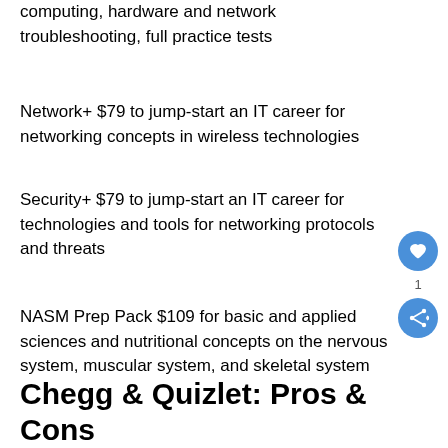computing, hardware and network troubleshooting, full practice tests
Network+ $79 to jump-start an IT career for networking concepts in wireless technologies
Security+ $79 to jump-start an IT career for technologies and tools for networking protocols and threats
NASM Prep Pack $109 for basic and applied sciences and nutritional concepts on the nervous system, muscular system, and skeletal system
Chegg & Quizlet: Pros & Cons